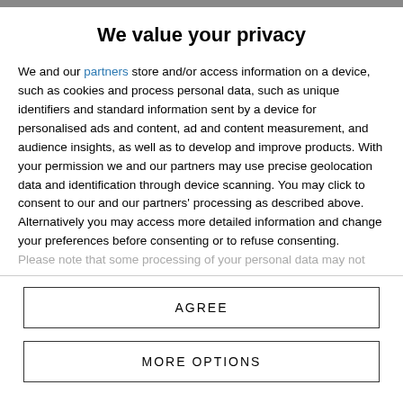We value your privacy
We and our partners store and/or access information on a device, such as cookies and process personal data, such as unique identifiers and standard information sent by a device for personalised ads and content, ad and content measurement, and audience insights, as well as to develop and improve products. With your permission we and our partners may use precise geolocation data and identification through device scanning. You may click to consent to our and our partners' processing as described above. Alternatively you may access more detailed information and change your preferences before consenting or to refuse consenting.
Please note that some processing of your personal data may not
AGREE
MORE OPTIONS
Read more